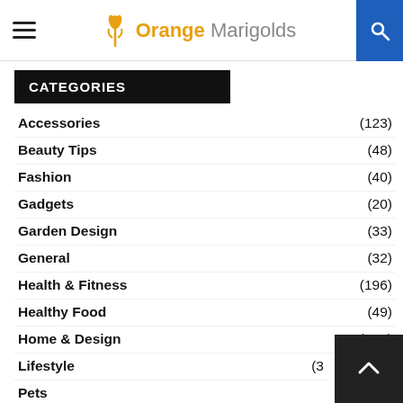Orange Marigolds
CATEGORIES
Accessories (123)
Beauty Tips (48)
Fashion (40)
Gadgets (20)
Garden Design (33)
General (32)
Health & Fitness (196)
Healthy Food (49)
Home & Design (403)
Lifestyle (3?)
Pets (17)
Travel (21)